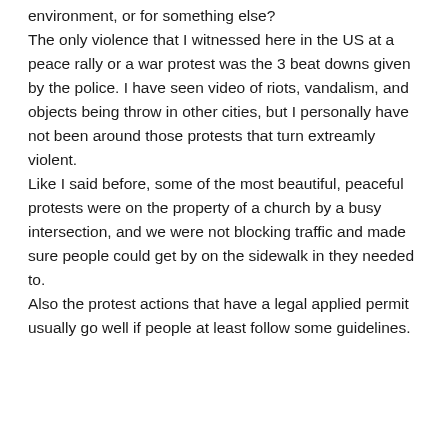environment, or for something else? The only violence that I witnessed here in the US at a peace rally or a war protest was the 3 beat downs given by the police. I have seen video of riots, vandalism, and objects being throw in other cities, but I personally have not been around those protests that turn extreamly violent. Like I said before, some of the most beautiful, peaceful protests were on the property of a church by a busy intersection, and we were not blocking traffic and made sure people could get by on the sidewalk in they needed to. Also the protest actions that have a legal applied permit usually go well if people at least follow some guidelines.